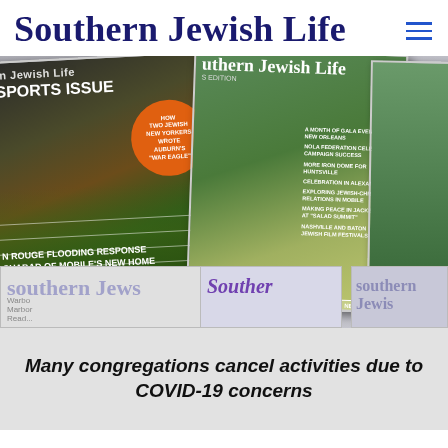Southern Jewish Life
[Figure (photo): Collage of Southern Jewish Life magazine covers including a Sports Issue cover with football stadium, a fall/Sukkot issue with lulav and etrog, and partial newsletter covers. The sports cover mentions 'How Two Jewish New Yorkers Wrote Auburn's War Eagle' and articles about Baton Rouge Flooding Response, Chabad of Mobile's New Home, Duck Dynasty indirectly led to NASCAR's 1st Israeli Driver. The Sukkot/fall cover lists: A Month of Gala Events in New Orleans, NOLA Federation Celebrates Campaign Success, More Iron Dome for Huntsville, Celebration in Alexandria, Exploring Jewish-Christian Relations in Mobile, Making Peace in Jackson at Salad Summit, Nashville and Baton Rouge Jewish Film Festivals.]
Many congregations cancel activities due to COVID-19 concerns